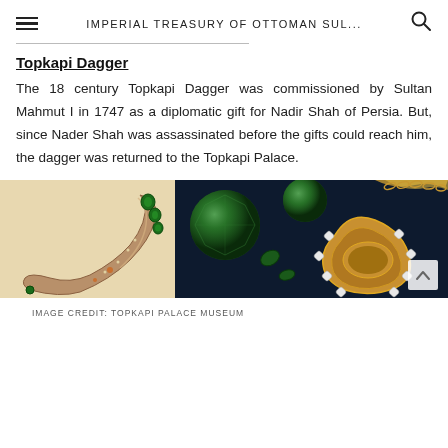IMPERIAL TREASURY OF OTTOMAN SUL...
Topkapi Dagger
The 18 century Topkapi Dagger was commissioned by Sultan Mahmut I in 1747 as a diplomatic gift for Nadir Shah of Persia. But, since Nader Shah was assassinated before the gifts could reach him, the dagger was returned to the Topkapi Palace.
[Figure (photo): Two photographs of the Topkapi Dagger: left image shows the curved golden blade with emeralds and gemstones; right image shows a close-up of the jeweled hilt with large emeralds, diamonds, and gold metalwork against a dark background.]
IMAGE CREDIT: TOPKAPI PALACE MUSEUM